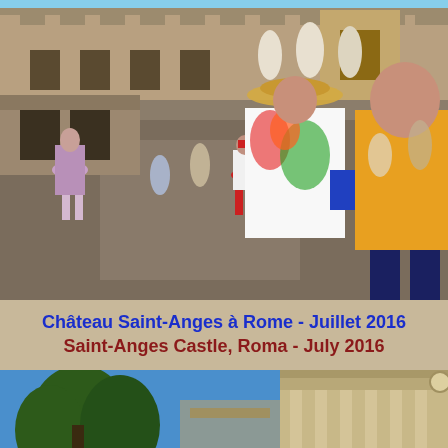[Figure (photo): Photo of two women walking on the Ponte Sant'Angelo bridge in Rome, with Castel Sant'Angelo fortress in the background. A crowd of tourists is visible on the bridge. The women in the foreground are wearing colorful summer clothes; one wears a straw hat and floral top, the other a yellow polo shirt. Other pedestrians walk away from the camera in the middle ground.]
Château Saint-Anges à Rome - Juillet 2016
Saint-Anges Castle, Roma - July 2016
[Figure (photo): Partial photo showing the bottom portion of the page: blue sky, pine trees, and the top of a classical Roman or Italian building with columns, likely near Saint-Anges Castle area in Rome.]